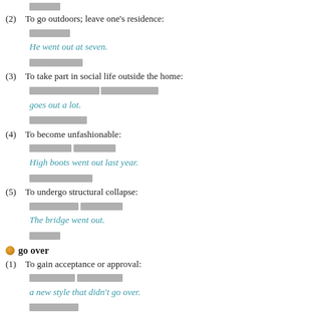█████ (redacted)
(2) To go outdoors; leave one's residence:
██████
He went out at seven.
████████
(3) To take part in social life outside the home:
█████████████████
goes out a lot.
█████████
(4) To become unfashionable:
████████████
High boots went out last year.
██████████
(5) To undergo structural collapse:
███████████
The bridge went out.
█████
go over
(1) To gain acceptance or approval:
████████████
a new style that didn't go over.
████████
(2) To examine: